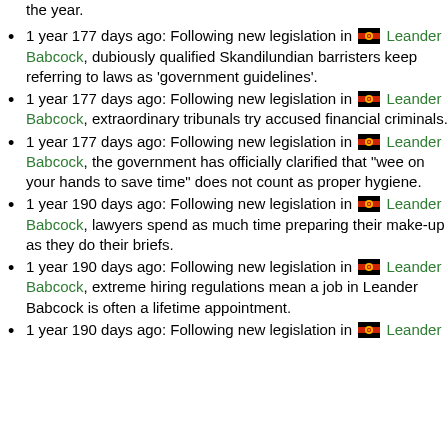1 year 177 days ago: Following new legislation in [flag] Leander Babcock, dubiously qualified Skandilundian barristers keep referring to laws as 'government guidelines'.
1 year 177 days ago: Following new legislation in [flag] Leander Babcock, extraordinary tribunals try accused financial criminals.
1 year 177 days ago: Following new legislation in [flag] Leander Babcock, the government has officially clarified that "wee on your hands to save time" does not count as proper hygiene.
1 year 190 days ago: Following new legislation in [flag] Leander Babcock, lawyers spend as much time preparing their make-up as they do their briefs.
1 year 190 days ago: Following new legislation in [flag] Leander Babcock, extreme hiring regulations mean a job in Leander Babcock is often a lifetime appointment.
1 year 190 days ago: Following new legislation in [flag] Leander Babcock, ...